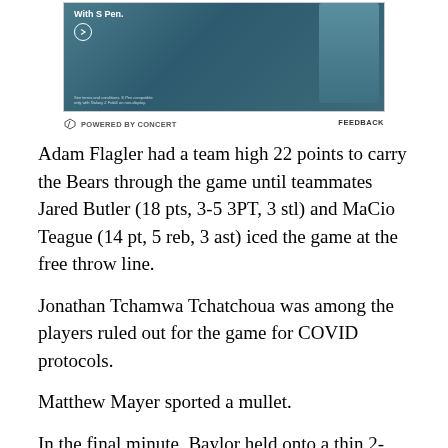[Figure (screenshot): Advertisement banner for a Samsung Galaxy Z Fold product featuring a teal/blue phone with S Pen, with text 'with S Pen.' and a circular arrow button. Includes small print at the bottom.]
⬡ POWERED BY CONCERT   FEEDBACK
Adam Flagler had a team high 22 points to carry the Bears through the game until teammates Jared Butler (18 pts, 3-5 3PT, 3 stl) and MaCio Teague (14 pt, 5 reb, 3 ast) iced the game at the free throw line.
Jonathan Tchamwa Tchatchoua was among the players ruled out for the game for COVID protocols.
Matthew Mayer sported a mullet.
In the final minute, Baylor held onto a thin 2-point lead. Who else, then, had the ball in his hands but Jared Butler? The All-American guard sized up his defender